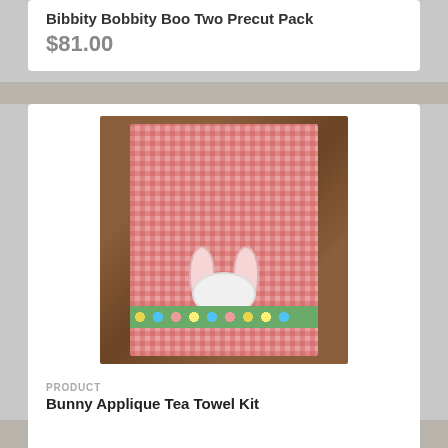Bibbity Bobbity Boo Two Precut Pack
$81.00
[Figure (photo): A red/pink gingham tea towel with a bunny applique (white bunny ears and head) and a floral green band, laid flat on a dark wooden surface.]
PRODUCT
Bunny Applique Tea Towel Kit
$20.00